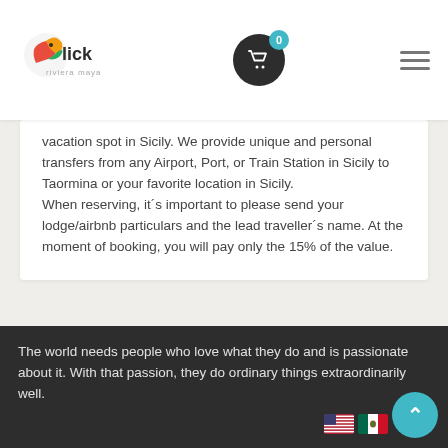[Figure (logo): Click Riviera Maya logo with bird/leaf icon]
vacation spot in Sicily. We provide unique and personal transfers from any Airport, Port, or Train Station in Sicily to Taormina or your favorite location in Sicily.
When reserving, it´s important to please send your lodge/airbnb particulars and the lead traveller´s name. At the moment of booking, you will pay only the 15% of the value.
You must be logged in to post a comment.
The world needs people who love what they do and is passionate about it. With that passion, they do ordinary things extraordinarily well.